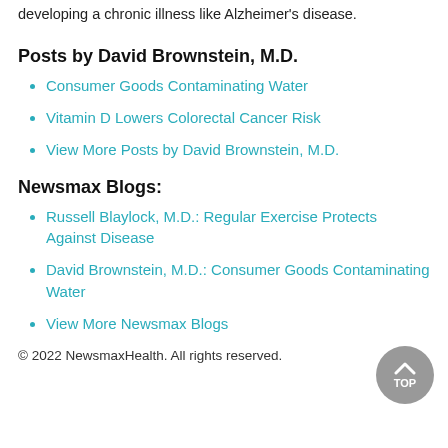developing a chronic illness like Alzheimer's disease.
Posts by David Brownstein, M.D.
Consumer Goods Contaminating Water
Vitamin D Lowers Colorectal Cancer Risk
View More Posts by David Brownstein, M.D.
Newsmax Blogs:
Russell Blaylock, M.D.: Regular Exercise Protects Against Disease
David Brownstein, M.D.: Consumer Goods Contaminating Water
View More Newsmax Blogs
© 2022 NewsmaxHealth. All rights reserved.